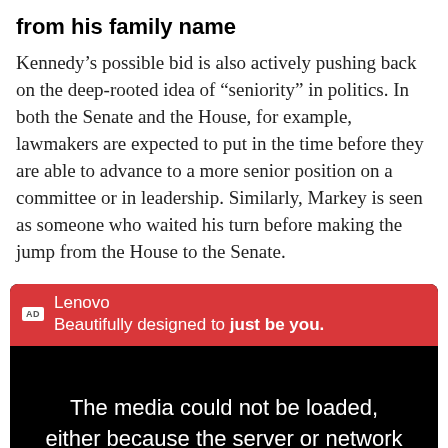from his family name
Kennedy’s possible bid is also actively pushing back on the deep-rooted idea of “seniority” in politics. In both the Senate and the House, for example, lawmakers are expected to put in the time before they are able to advance to a more senior position on a committee or in leadership. Similarly, Markey is seen as someone who waited his turn before making the jump from the House to the Senate.
[Figure (screenshot): Advertisement for Lenovo with tagline 'Beautifully designed to just be you.' followed by a black video player area showing the error message: 'The media could not be loaded, either because the server or network failed or because the format is not']